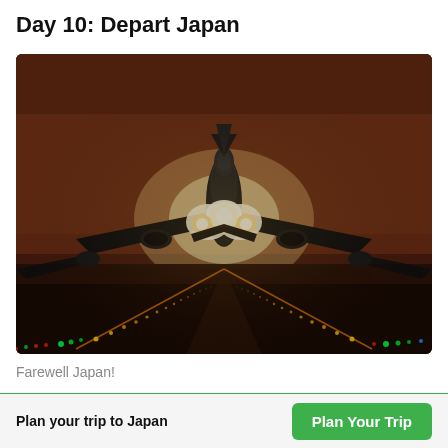Day 10: Depart Japan
[Figure (photo): An airplane taking off at night/dusk from a runway, with bright landing lights blazing and colorful runway lights trailing behind it against a dark reddish-brown sky.]
Farewell Japan!
Plan your trip to Japan
Plan Your Trip